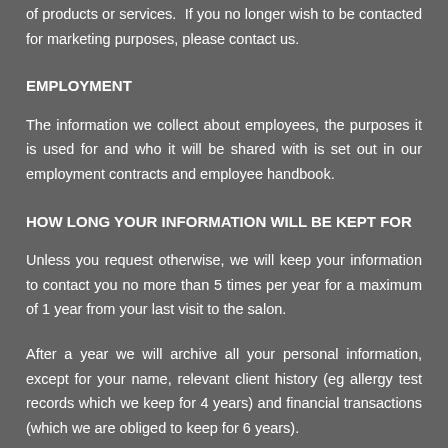of products or services.  If you no longer wish to be contacted for marketing purposes, please contact us.
EMPLOYMENT
The information we collect about employees, the purposes it is used for and who it will be shared with is set out in our employment contracts and employee handbook.
HOW LONG YOUR INFORMATION WILL BE KEPT FOR
Unless you request otherwise, we will keep your information to contact you no more than 5 times per year for a maximum of 1 year from your last visit to the salon.
After a year we will archive all your personal information, except for your name, relevant client history (eg allergy test records which we keep for 4 years) and financial transactions (which we are obliged to keep for 6 years).